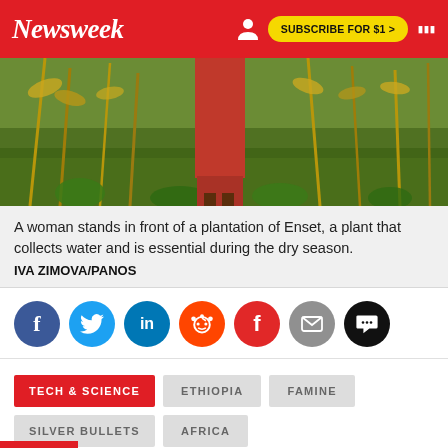Newsweek — SUBSCRIBE FOR $1 >
[Figure (photo): Woman in red skirt standing in front of a plantation of Enset plants with dried stalks and green vegetation]
A woman stands in front of a plantation of Enset, a plant that collects water and is essential during the dry season.
IVA ZIMOVA/PANOS
[Figure (infographic): Social share buttons: Facebook, Twitter, LinkedIn, Reddit, Flipboard, Email, Comments]
TECH & SCIENCE  ETHIOPIA  FAMINE  SILVER BULLETS  AFRICA